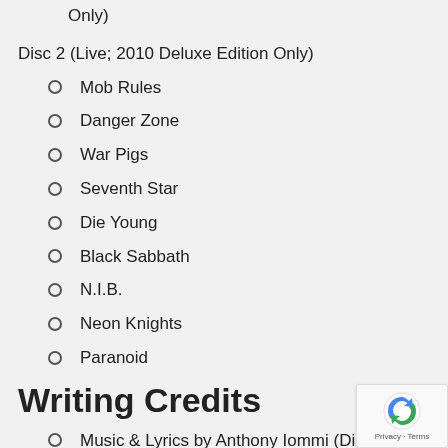Only)
Disc 2 (Live; 2010 Deluxe Edition Only)
Mob Rules
Danger Zone
War Pigs
Seventh Star
Die Young
Black Sabbath
N.I.B.
Neon Knights
Paranoid
Writing Credits
Music & Lyrics by Anthony Iommi (Disc 1)